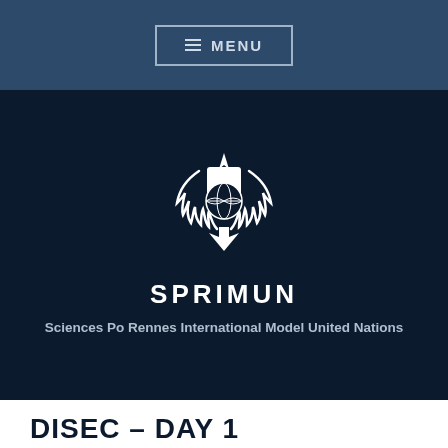MENU
[Figure (logo): SPRIMUN logo: a globe with laurel wreath and arrow/flame motifs in white on dark navy background]
SPRIMUN
Sciences Po Rennes International Model United Nations
DISEC – DAY 1